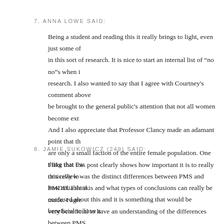7. ANNA LOWE SAID:
Being a student and reading this it really brings to light, even just some of in this sort of research. It is nice to start an internal list of “no no”s when i research. I also wanted to say that I agree with Courtney’s comment above be brought to the general public’s attention that not all women become ext And I also appreciate that Professor Clancy made an adamant point that th are only a small faction of the entire female population. One thing that I w this review was the distinct differences between PMS and PMDD. I think confused about this and it is something that would be beneficial to have a
8. JAMIE SUKOWICZ (249) SAID:
I like that this post clearly shows how important it is to really critically lo how reliable it is and what types of conclusions can really be made. I agre very beneficial to have an understanding of the differences between PMS overused term. Men can blame a woman’s mood on it, as opposed to cons reason for being upset (or that she’s not even moody at all). On the other e